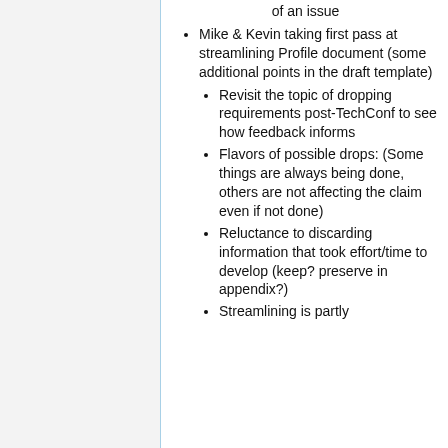of an issue
Mike & Kevin taking first pass at streamlining Profile document (some additional points in the draft template)
Revisit the topic of dropping requirements post-TechConf to see how feedback informs
Flavors of possible drops: (Some things are always being done, others are not affecting the claim even if not done)
Reluctance to discarding information that took effort/time to develop (keep? preserve in appendix?)
Streamlining is partly